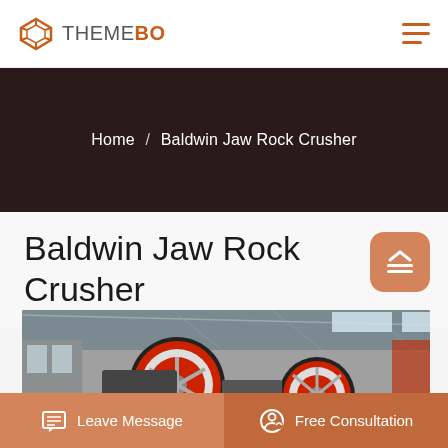THEMEBO
Home / Baldwin Jaw Rock Crusher
Baldwin Jaw Rock Crusher
[Figure (photo): Industrial jaw rock crusher machinery with large red and white flywheel in a factory/warehouse setting with steel roof structure]
Leave Message
Free Consultation